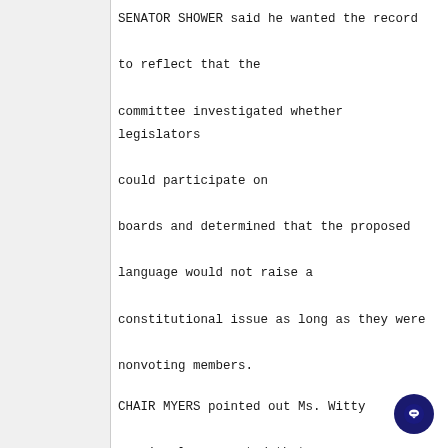SENATOR SHOWER said he wanted the record to reflect that the committee investigated whether legislators could participate on boards and determined that the proposed language would not raise a constitutional issue as long as they were nonvoting members.
CHAIR MYERS pointed out Ms. Witty previously commented that precedent exists for legislators to serve on boards as nonvoting members. He said it seems as though this would follow the standard procedure of the legislature exercising oversight powers by serving as a nonvoting member on a board